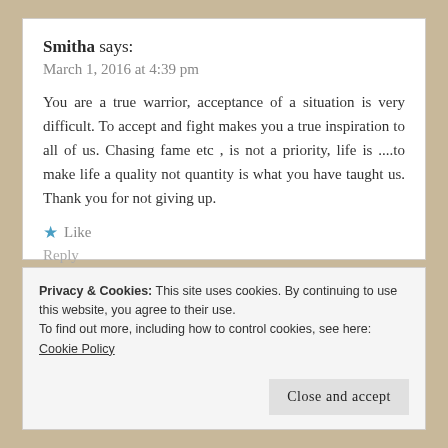Smitha says:
March 1, 2016 at 4:39 pm
You are a true warrior, acceptance of a situation is very difficult. To accept and fight makes you a true inspiration to all of us. Chasing fame etc , is not a priority, life is ....to make life a quality not quantity is what you have taught us. Thank you for not giving up.
★ Like
Reply
Privacy & Cookies: This site uses cookies. By continuing to use this website, you agree to their use.
To find out more, including how to control cookies, see here: Cookie Policy
Close and accept